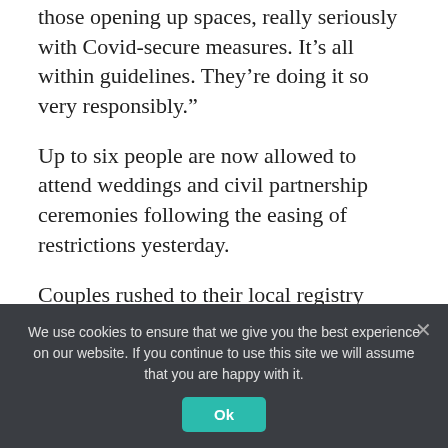those opening up spaces, really seriously with Covid-secure measures. It’s all within guidelines. They’re doing it so very responsibly.”
Up to six people are now allowed to attend weddings and civil partnership ceremonies following the easing of restrictions yesterday.
Couples rushed to their local registry offices yesterday to make the most of the new rules.
Ben and Gabriela Lloyd were the first to wed,
We use cookies to ensure that we give you the best experience on our website. If you continue to use this site we will assume that you are happy with it.